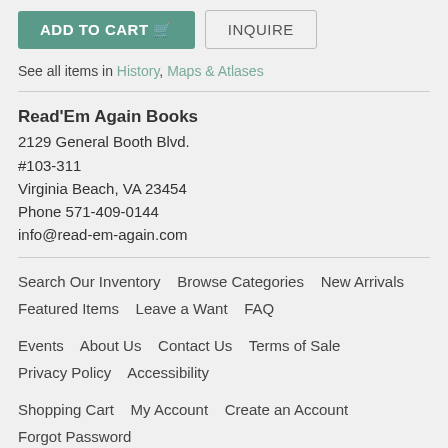ADD TO CART | INQUIRE
See all items in History, Maps & Atlases
Read'Em Again Books
2129 General Booth Blvd.
#103-311
Virginia Beach, VA 23454
Phone 571-409-0144
info@read-em-again.com
Search Our Inventory   Browse Categories   New Arrivals   Featured Items   Leave a Want   FAQ
Events   About Us   Contact Us   Terms of Sale   Privacy Policy   Accessibility
Shopping Cart   My Account   Create an Account   Forgot Password